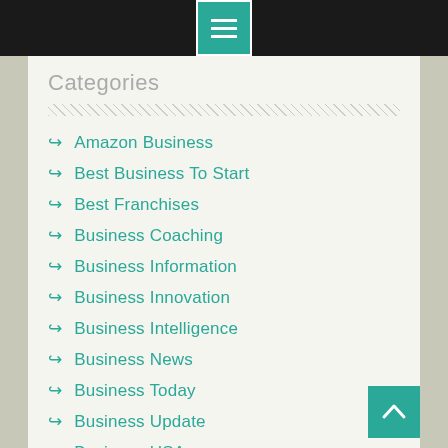Navigation menu header bar
Categories
Amazon Business
Best Business To Start
Best Franchises
Business Coaching
Business Information
Business Innovation
Business Intelligence
Business News
Business Today
Business Update
Business USA